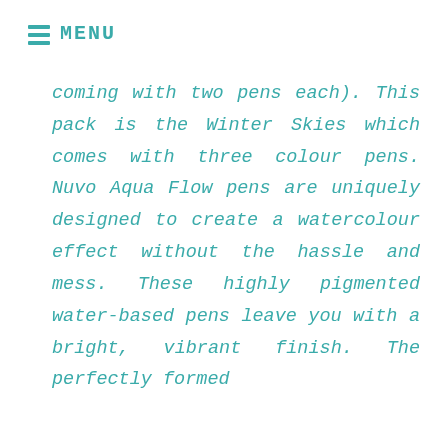MENU
coming with two pens each). This pack is the Winter Skies which comes with three colour pens. Nuvo Aqua Flow pens are uniquely designed to create a watercolour effect without the hassle and mess. These highly pigmented water-based pens leave you with a bright, vibrant finish. The perfectly formed